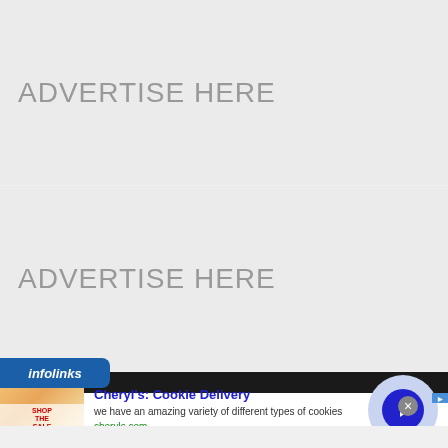[Figure (other): Advertisement placeholder box with text ADVERTISE HERE in gray]
[Figure (other): Second advertisement placeholder box with text ADVERTISE HERE in gray]
[Figure (other): Infolinks advertisement banner showing Cheryl's Cookie Delivery ad with image, title, description, and URL cheryls.com, with navigation arrow circle and close button]